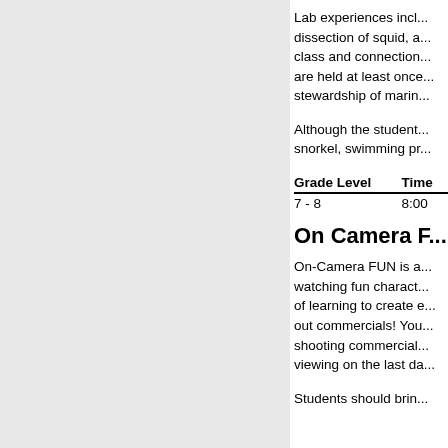Lab experiences incl... dissection of squid, a... class and connection... are held at least once... stewardship of marin...
Although the student... snorkel, swimming pr...
| Grade Level | Time |
| --- | --- |
| 7 - 8 | 8:00 |
On Camera F...
On-Camera FUN is a... watching fun charact... of learning to create e... out commercials! You... shooting commercial... viewing on the last da...
Students should brin...